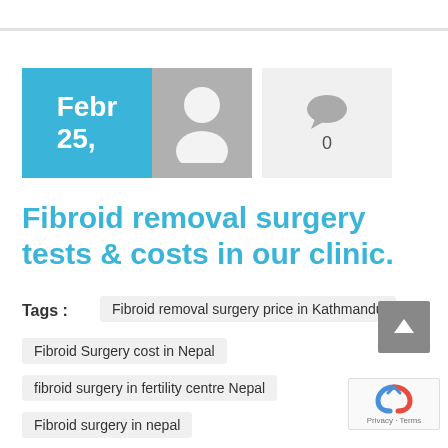[Figure (other): Decorative top horizontal line]
[Figure (other): Date box showing 'Febr 25,' in blue, avatar placeholder in gray, comment icon with count 0]
Fibroid removal surgery tests & costs in our clinic.
Tags :
Fibroid removal surgery price in Kathmandu
Fibroid Surgery cost in Nepal
fibroid surgery in fertility centre Nepal
Fibroid surgery in nepal
Fibroids surgery price in kathmandu